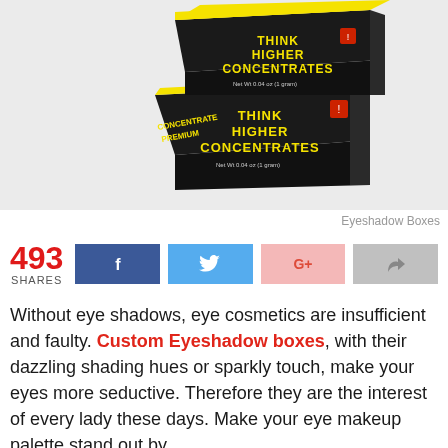[Figure (photo): Product photo of two black boxes labeled 'Think Higher Concentrates' with yellow accent tops, stacked/arranged at an angle on a light gray background.]
Eyeshadow Boxes
493 SHARES [Facebook] [Twitter] [Google+] [Share]
Without eye shadows, eye cosmetics are insufficient and faulty. Custom Eyeshadow boxes, with their dazzling shading hues or sparkly touch, make your eyes more seductive. Therefore they are the interest of every lady these days. Make your eye makeup palette stand out by